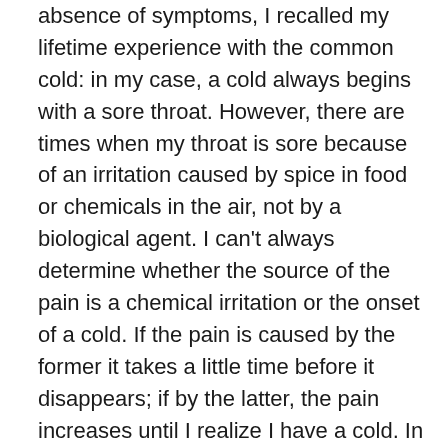absence of symptoms, I recalled my lifetime experience with the common cold: in my case, a cold always begins with a sore throat. However, there are times when my throat is sore because of an irritation caused by spice in food or chemicals in the air, not by a biological agent. I can't always determine whether the source of the pain is a chemical irritation or the onset of a cold. If the pain is caused by the former it takes a little time before it disappears; if by the latter, the pain increases until I realize I have a cold. In either case, my judgment about the cause of pain is sometimes initially ambivalent, especially when I'm too busy to take note of minor pain. And then there are times when I wake up to what I immediately know can only be a cold that has taken me by surprise.
Exactly when does a carrier know that he's been infected with the ebola virus? Don't we usually think or say, "I think